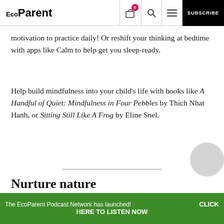EcoParent | Subscribe
motivation to practice daily! Or reshift your thinking at bedtime with apps like Calm to help get you sleep-ready.
Help build mindfulness into your child’s life with books like A Handful of Quiet: Mindfulness in Four Pebbles by Thich Nhat Hanh, or Sitting Still Like A Frog by Eline Snel.
Nurture nature
Most of us can appreciate the beauty of a well-manicured garden, the giant trees of an ancient forest, or the expanse of an open field. But besides
The EcoParent Podcast Network has launched! CLICK HERE TO LISTEN NOW